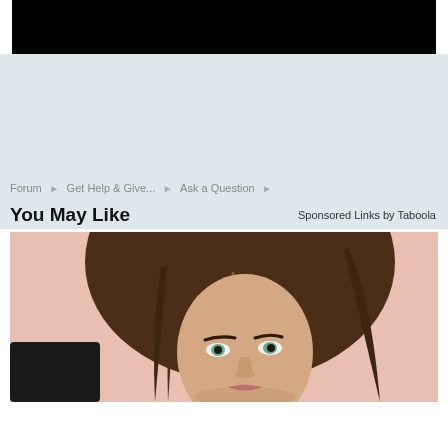[Figure (photo): Black banner at top of page]
[Figure (photo): Light blue/gray background section]
Forum ▶ Get Help & Give... ▶ Ask a Question ▶
You May Like
Sponsored Links by Taboola
[Figure (photo): Photo of a young woman with brown hair and green eyes, holding a dark object, against a pink/peach background]